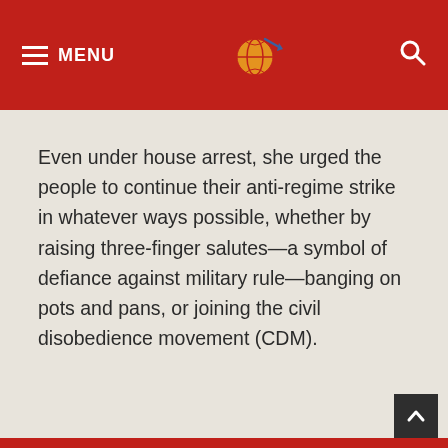MENU
Even under house arrest, she urged the people to continue their anti-regime strike in whatever ways possible, whether by raising three-finger salutes—a symbol of defiance against military rule—banging on pots and pans, or joining the civil disobedience movement (CDM).